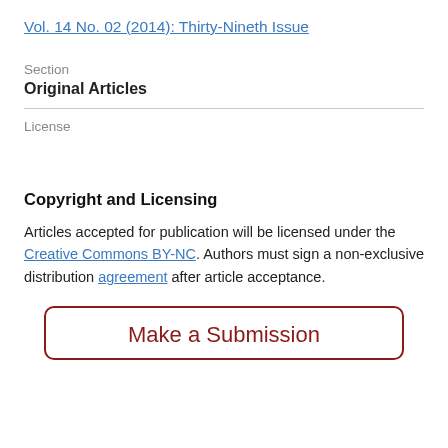Vol. 14 No. 02 (2014): Thirty-Nineth Issue
Section
Original Articles
License
Copyright and Licensing
Articles accepted for publication will be licensed under the Creative Commons BY-NC. Authors must sign a non-exclusive distribution agreement after article acceptance.
Make a Submission